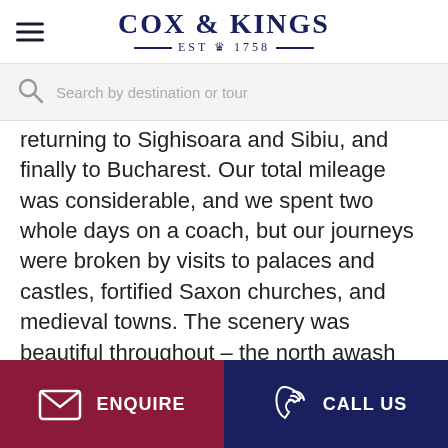COX & KINGS — EST 1758 —
Search by destination or tour
returning to Sighisoara and Sibiu, and finally to Bucharest. Our total mileage was considerable, and we spent two whole days on a coach, but our journeys were broken by visits to palaces and castles, fortified Saxon churches, and medieval towns. The scenery was beautiful throughout – the north awash with apple blossom and bright fields of golden dandelions, the Carthusian mountain gorges dramatic, the gentle plains of Transylvania green with cereals or the brown earth ridged ready
ENQUIRE   CALL US